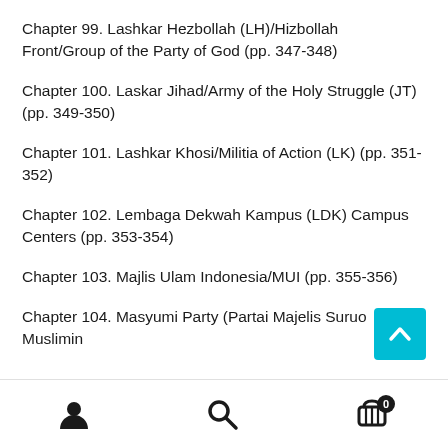Chapter 99. Lashkar Hezbollah (LH)/Hizbollah Front/Group of the Party of God (pp. 347-348)
Chapter 100. Laskar Jihad/Army of the Holy Struggle (JT) (pp. 349-350)
Chapter 101. Lashkar Khosi/Militia of Action (LK) (pp. 351-352)
Chapter 102. Lembaga Dekwah Kampus (LDK) Campus Centers (pp. 353-354)
Chapter 103. Majlis Ulam Indonesia/MUI (pp. 355-356)
Chapter 104. Masyumi Party (Partai Majelis Suruo Muslimin